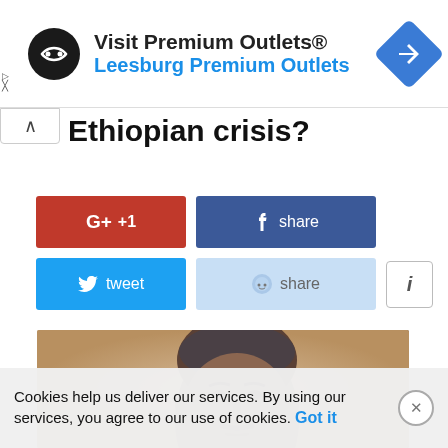[Figure (screenshot): Advertisement banner for Premium Outlets with logo, navigation icon, and text 'Visit Premium Outlets® Leesburg Premium Outlets']
Ethiopian crisis?
[Figure (infographic): Social media share buttons: Google+1, Facebook share, Twitter tweet, Reddit share, and info button]
[Figure (photo): Close-up photo of a middle-aged man with grey hair and mustache, looking to the side]
Cookies help us deliver our services. By using our services, you agree to our use of cookies.  Got it